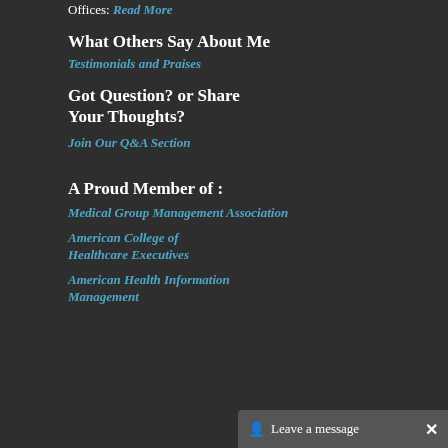Offices: Read More
What Others Say About Me
Testimonials and Praises
Got Question? or Share Your Thoughts?
Join Our Q&A Section
A Proud Member of :
Medical Group Management Association
American College of Healthcare Executives
American Health Information Management
Leave a message